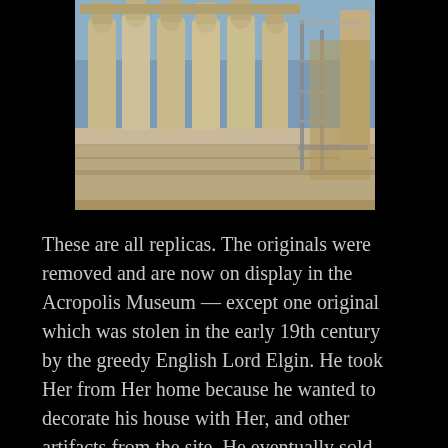[Figure (photo): Photograph of the Caryatid porch of the Erechtheion on the Acropolis, Athens. Six female figure columns (caryatids) support the roof of a porch, with stone masonry and construction scaffolding visible in the background. The sky is pale blue. The statues are weathered white marble.]
These are all replicas. The originals were removed and are now on display in the Acropolis Museum — except one original which was stolen in the early 19th century by the greedy English Lord Elgin. He took Her from Her home because he wanted to decorate his house with Her, and other artifacts from the site. He eventually sold Her to the British